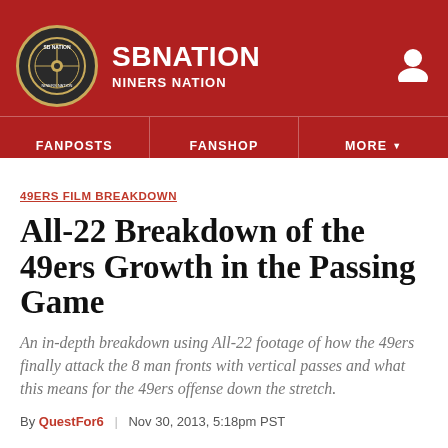SB NATION | NINERS NATION
49ERS FILM BREAKDOWN
All-22 Breakdown of the 49ers Growth in the Passing Game
An in-depth breakdown using All-22 footage of how the 49ers finally attack the 8 man fronts with vertical passes and what this means for the 49ers offense down the stretch.
By QuestFor6 | Nov 30, 2013, 5:18pm PST